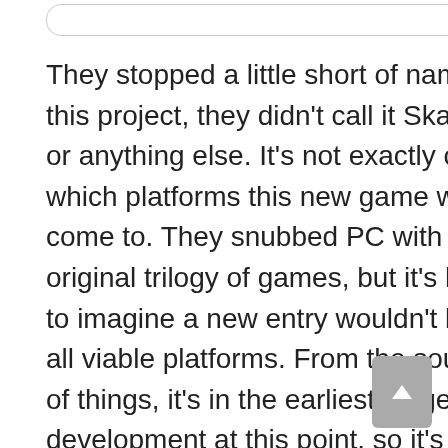They stopped a little short of naming this project, they didn't call it Skate 4 or anything else. It's not exactly clear which platforms this new game will come to. They snubbed PC with the original trilogy of games, but it's hard to imagine a new entry wouldn't be on all viable platforms. From the sounds of things, it's in the earliest stage of development at this point, so it's going to take a little more patience, but it's great news to see